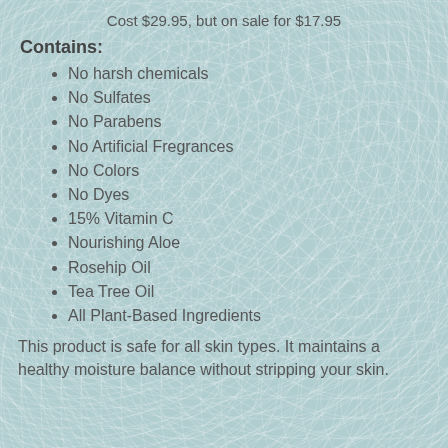Cost $29.95, but on sale for $17.95
Contains:
No harsh chemicals
No Sulfates
No Parabens
No Artificial Fregrances
No Colors
No Dyes
15% Vitamin C
Nourishing Aloe
Rosehip Oil
Tea Tree Oil
All Plant-Based Ingredients
This product is safe for all skin types. It maintains a healthy moisture balance without stripping your skin.